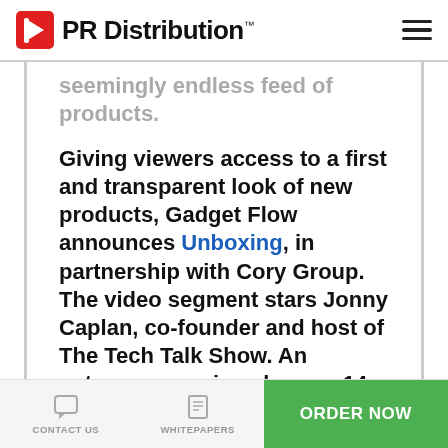PR Distribution™
seemingly endless feed of products.
Giving viewers access to a first and transparent look of new products, Gadget Flow announces Unboxing, in partnership with Cory Group. The video segment stars Jonny Caplan, co-founder and host of The Tech Talk Show. An entrepreneur since he was 14, Jonny Caplan is a world-renowned influencer in the startup and
CONTACT US  WHITEPAPERS  ORDER NOW